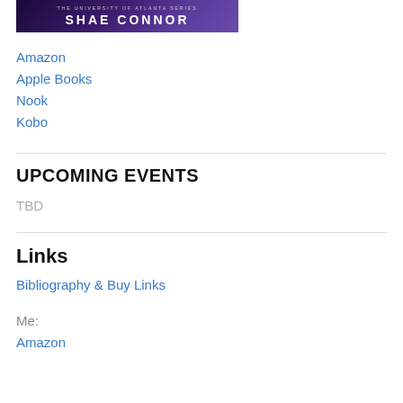[Figure (illustration): Book cover for 'The University of Atlanta Series' by Shae Connor, dark blue/purple tones]
Amazon
Apple Books
Nook
Kobo
UPCOMING EVENTS
TBD
Links
Bibliography & Buy Links
Me:
Amazon